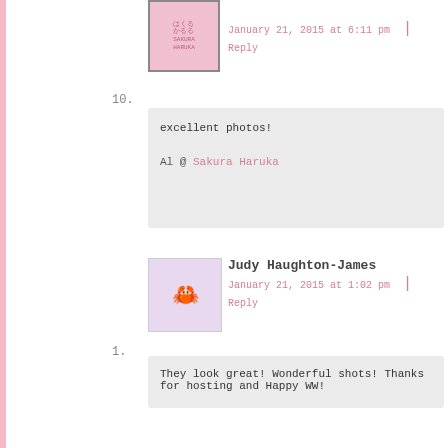[Figure (photo): Sakura Haruka avatar - pink floral design with Japanese text]
January 21, 2015 at 6:11 pm | Reply
10.
excellent photos!

Al @ Sakura Haruka
[Figure (illustration): Judy Haughton-James avatar - cartoon crab-like creature on purple background]
Judy Haughton-James
January 21, 2015 at 1:02 pm | Reply
1.
They look great! Wonderful shots! Thanks for hosting and Happy WW!
[Figure (illustration): Joyce avatar - cartoon robot/alien creature on purple background]
Joyce
January 30, 2015 at 2:21 am | Reply
12.
It's a toss up between the laughing first photo and the kiss

http://joycediinskybloyspot.com/2015/01/wordless-wednesday-my-baby-is-twen